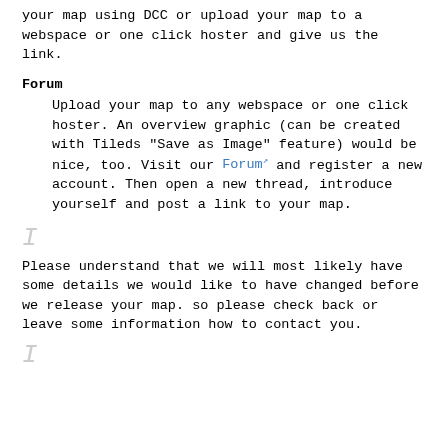your map using DCC or upload your map to a webspace or one click hoster and give us the link.
Forum
Upload your map to any webspace or one click hoster. An overview graphic (can be created with Tileds "Save as Image" feature) would be nice, too. Visit our Forum and register a new account. Then open a new thread, introduce yourself and post a link to your map.
I
Please understand that we will most likely have some details we would like to have changed before we release your map. so please check back or leave some information how to contact you.
I